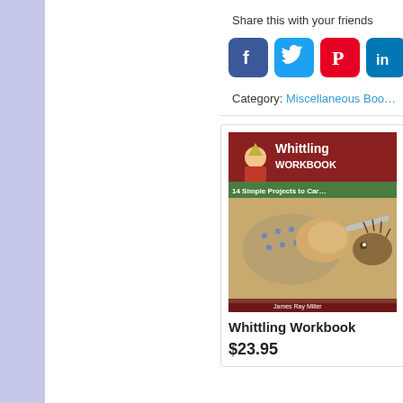Share this with your friends
[Figure (infographic): Social media sharing icons: Facebook (blue), Twitter (light blue), Pinterest (red), LinkedIn (teal)]
Category: Miscellaneous Boo…
[Figure (photo): Book cover: Whittling Workbook - 14 Simple Projects to Car… by James Ray Miller. Shows hands carving wood with a knife, and a carved hedgehog figurine.]
Whittling Workbook
$23.95